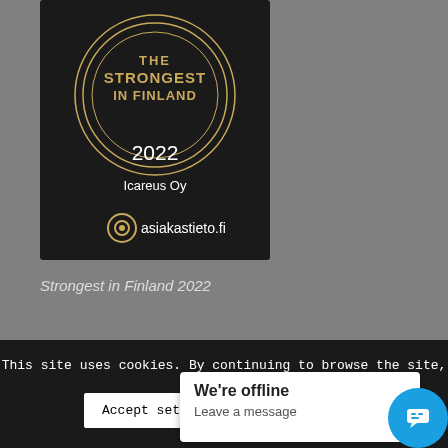[Figure (logo): Dark badge/certificate showing 'THE STRONGEST IN FINLAND 2022 Icareus Oy asiakastieto.fi' with concentric gold circles on dark background]
Strongest in Finland 2022
This site uses cookies. By continuing to browse the site, you are agree
We're offline
Leave a message
Accept settings